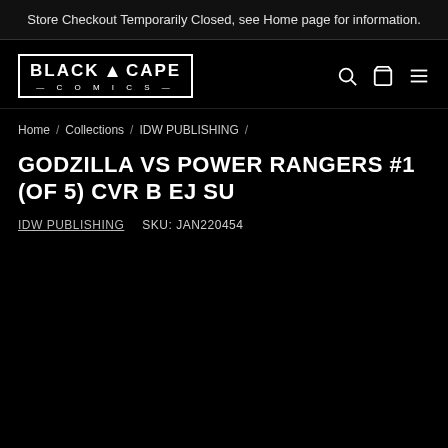Store Checkout Temporarily Closed, see Home page for information.
[Figure (logo): Black Cape Comics logo — bold text in a rectangle with triangle above the A]
GODZILLA VS POWER RANGERS #1 (OF 5) CVR B EJ SU
IDW PUBLISHING   SKU: JAN220454